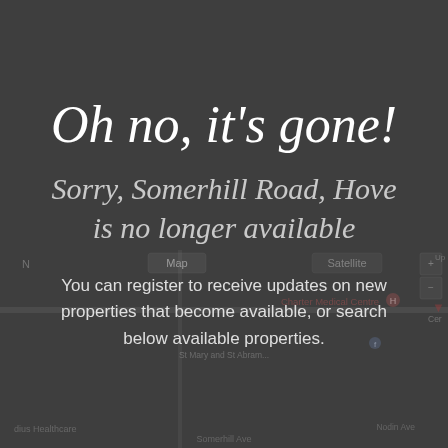[Figure (map): Faded map background showing Somerhill Road area in Hove, with map/satellite toggle UI elements, street labels including Somerhill Ave, Charter Medical Centre marker, and other local landmarks partially visible through dark overlay.]
Oh no, it's gone!
Sorry, Somerhill Road, Hove is no longer available
You can register to receive updates on new properties that become available, or search below available properties.